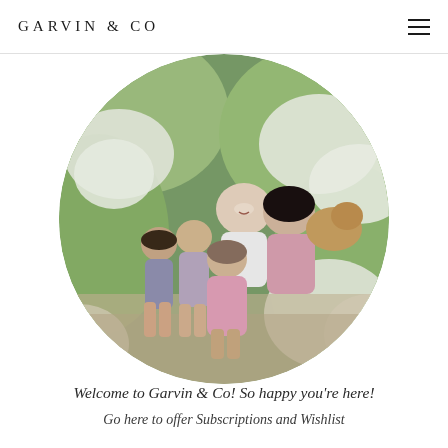GARVIN & CO
[Figure (photo): Circular family portrait photo showing a family of five (two adults and three girls) with a golden doodle dog, seated outdoors among white hydrangea flowers and green foliage. The mother wears pink, the father wears white, and the children wear pink outfits.]
Welcome to Garvin & Co! So happy you're here!
Go here to offer Subscriptions and Wishlist